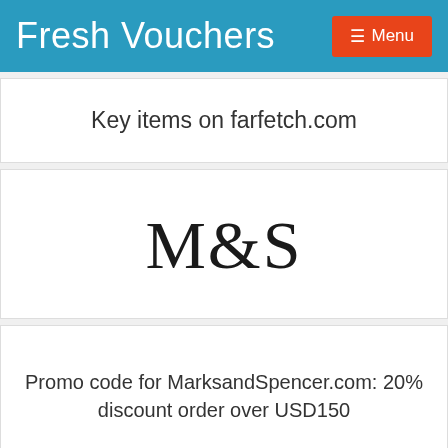Fresh Vouchers
Key items on farfetch.com
[Figure (logo): M&S logo in large serif font]
Promo code for MarksandSpencer.com: 20% discount order over USD150
[Figure (logo): Stradivarius logo with decorative symbol]